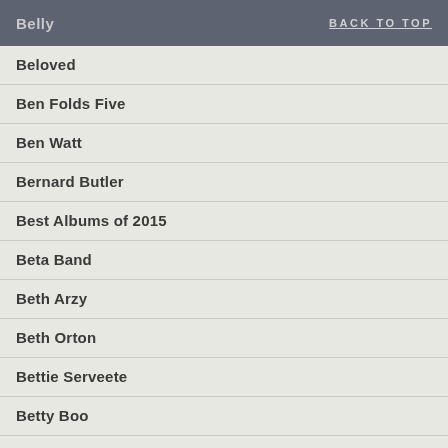Belly  BACK TO TOP
Beloved
Ben Folds Five
Ben Watt
Bernard Butler
Best Albums of 2015
Beta Band
Beth Arzy
Beth Orton
Bettie Serveete
Betty Boo
Bettye Swann
Biff Bang Pow!